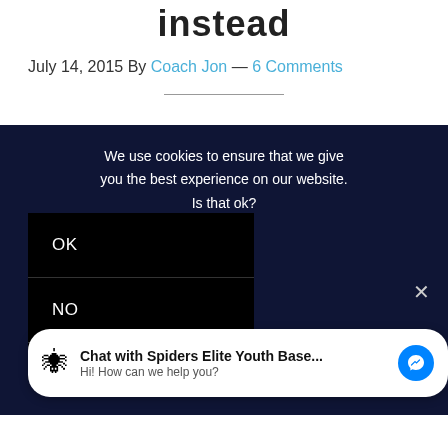instead
July 14, 2015 By Coach Jon — 6 Comments
We use cookies to ensure that we give you the best experience on our website. Is that ok?
[Figure (screenshot): Cookie consent dialog with OK and NO buttons on dark navy background, and a chat widget at the bottom saying 'Chat with Spiders Elite Youth Base... Hi! How can we help you?']